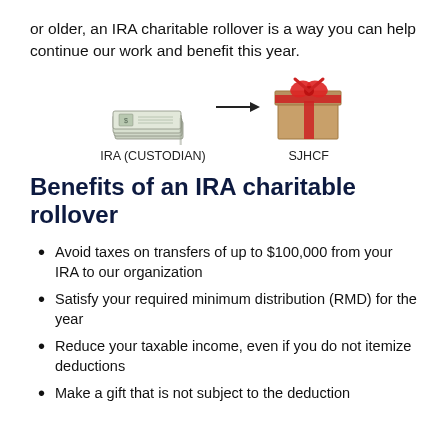or older, an IRA charitable rollover is a way you can help continue our work and benefit this year.
[Figure (infographic): Illustration showing money/cash stack on the left labeled 'IRA (CUSTODIAN)', an arrow pointing right, and a gift box on the right labeled 'SJHCF', representing an IRA charitable rollover transfer.]
Benefits of an IRA charitable rollover
Avoid taxes on transfers of up to $100,000 from your IRA to our organization
Satisfy your required minimum distribution (RMD) for the year
Reduce your taxable income, even if you do not itemize deductions
Make a gift that is not subject to the deduction